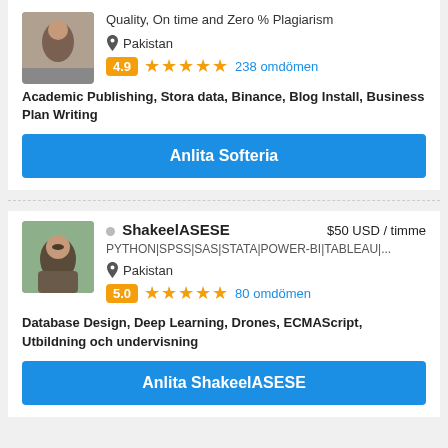[Figure (photo): Profile photo of first freelancer (partially visible at top)]
Quality, On time and Zero % Plagiarism
Pakistan
4.9 ★★★★★ 238 omdömen
Academic Publishing, Stora data, Binance, Blog Install, Business Plan Writing
Anlita Softeria
[Figure (photo): Profile photo of ShakeelASESE]
ShakeelASESE $50 USD / timme
PYTHON|SPSS|SAS|STATA|POWER-BI|TABLEAU|...
Pakistan
5.0 ★★★★★ 80 omdömen
Database Design, Deep Learning, Drones, ECMAScript, Utbildning och undervisning
Anlita ShakeelASESE